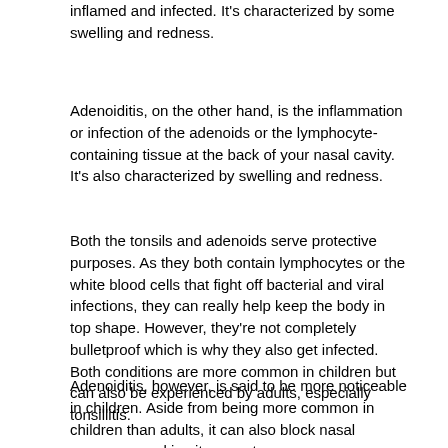inflamed and infected. It's characterized by some swelling and redness.
Adenoiditis, on the other hand, is the inflammation or infection of the adenoids or the lymphocyte-containing tissue at the back of your nasal cavity. It's also characterized by swelling and redness.
Both the tonsils and adenoids serve protective purposes. As they both contain lymphocytes or the white blood cells that fight off bacterial and viral infections, they can really help keep the body in top shape. However, they're not completely bulletproof which is why they also get infected. Both conditions are more common in children but can also be experienced by adults, especially tonsillitis.
Adenoiditis, however, is said to be more noticeable in children. Aside from being more common in children than adults, it can also block nasal passages, making its urgent